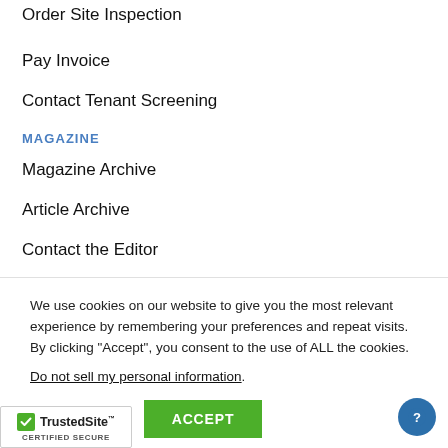Order Site Inspection
Pay Invoice
Contact Tenant Screening
MAGAZINE
Magazine Archive
Article Archive
Contact the Editor
We use cookies on our website to give you the most relevant experience by remembering your preferences and repeat visits. By clicking “Accept”, you consent to the use of ALL the cookies.
Do not sell my personal information.
Cookie settings   ACCEPT